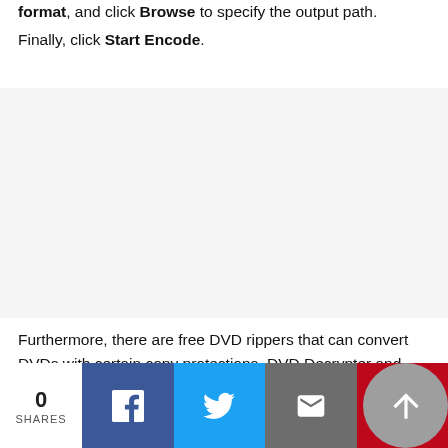format, and click Browse to specify the output path. Finally, click Start Encode.
[Figure (other): Advertisement / gray placeholder block]
Furthermore, there are free DVD rippers that can convert DVDs with certain copy protections. DVD Decrypter and MakeMKV are such two tools.
[Figure (infographic): Social share bar with 0 SHARES count, Facebook, Twitter, Email, Pinterest buttons, and an up arrow button]